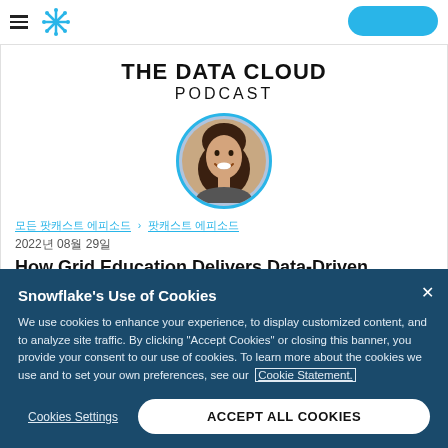THE DATA CLOUD PODCAST
[Figure (photo): Circular profile photo of a smiling woman with dark hair, framed with a blue border]
모든 팟캐스트 에피소드 > 팟캐스트 에피소드
2022년 08월 29일
How Grid Education Delivers Data-Driven
Snowflake's Use of Cookies
We use cookies to enhance your experience, to display customized content, and to analyze site traffic. By clicking "Accept Cookies" or closing this banner, you provide your consent to our use of cookies. To learn more about the cookies we use and to set your own preferences, see our Cookie Statement.
Cookies Settings
ACCEPT ALL COOKIES